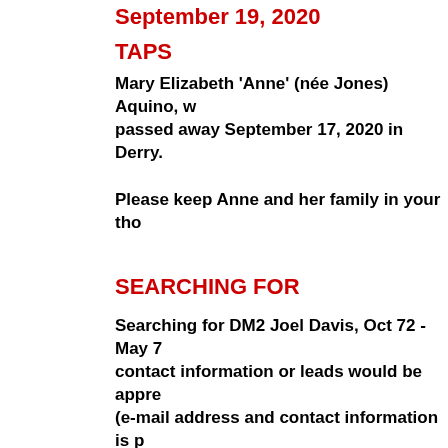September 19, 2020
TAPS
Mary Elizabeth 'Anne' (née Jones) Aquino, w... passed away September 17, 2020 in Derry.
Please keep Anne and her family in your tho...
SEARCHING FOR
Searching for DM2 Joel Davis, Oct 72 - May 7... contact information or leads would be appre... (e-mail address and contact information is p... page).
While visiting this page, kindly take a momen... the other requests posted by your shipmates... appreciated!
In the left margin click on "Searching For", d...
January 00, 0000